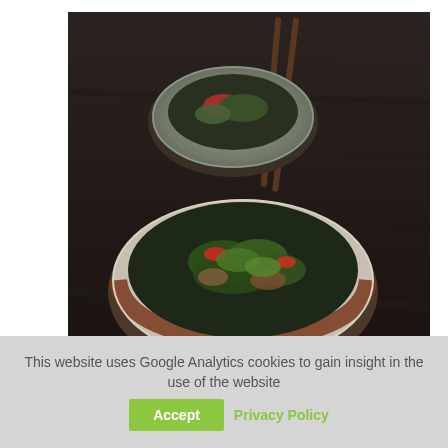[Figure (photo): Two Asian-style ceramic bowls with stir-fried vegetables and greens, one in background with red accents, one in foreground. Chopsticks visible. Dark wooden table background.]
International producer of food- & feed-safe microalgae
There is growing interest in the use of new protein sources in food, such as insects and microalgae. Algae are a natural and highly efficient source of protein and essential amino acids. Microalgae are also suitable as a flavouring and binding agent in meat alternatives. Phycom microalgae have consistent quality and superior purity.  Phycom can help you develop alternative products containing microalgae.
This website uses Google Analytics cookies to gain insight in the use of the website
Accept
Privacy Policy